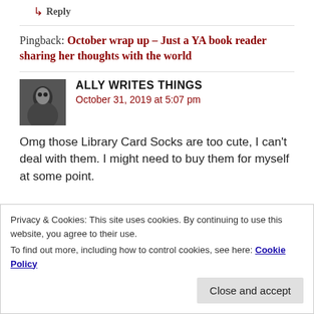↳ Reply
Pingback: October wrap up – Just a YA book reader sharing her thoughts with the world
ALLY WRITES THINGS
October 31, 2019 at 5:07 pm
Omg those Library Card Socks are too cute, I can't deal with them. I might need to buy them for myself at some point.
Privacy & Cookies: This site uses cookies. By continuing to use this website, you agree to their use.
To find out more, including how to control cookies, see here: Cookie Policy